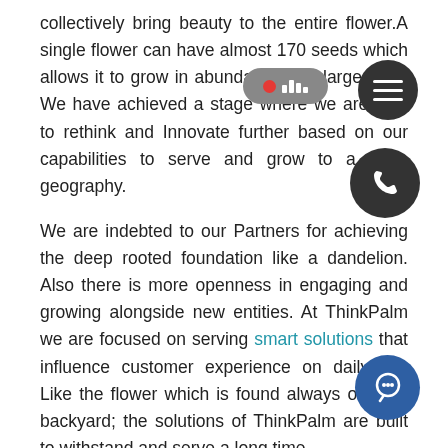collectively bring beauty to the entire flower. A single flower can have almost 170 seeds which allows it to grow in abundance in a large area. We have achieved a stage where we are able to rethink and Innovate further based on our capabilities to serve and grow to a large geography.
We are indebted to our Partners for achieving the deep rooted foundation like a dandelion. Also there is more openness in engaging and growing alongside new entities. At ThinkPalm we are focused on serving smart solutions that influence customer experience on daily life. Like the flower which is found always on your backyard; the solutions of ThinkPalm are built to withstand and serve a long time.